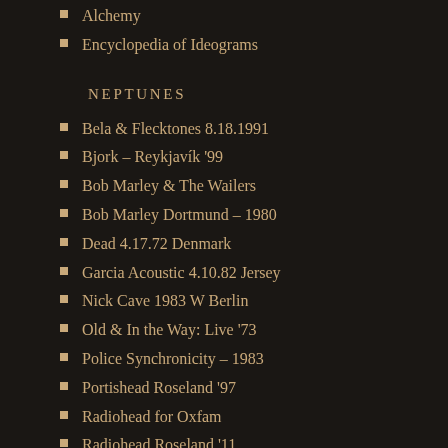Alchemy
Encyclopedia of Ideograms
NEPTUNES
Bela & Flecktones 8.18.1991
Bjork – Reykjavík '99
Bob Marley & The Wailers
Bob Marley Dortmund – 1980
Dead 4.17.72 Denmark
Garcia Acoustic 4.10.82 Jersey
Nick Cave 1983 W Berlin
Old & In the Way: Live '73
Police Synchronicity – 1983
Portishead Roseland '97
Radiohead for Oxfam
Radiohead Roseland '11
Salmon Stream
SCI-Fox 4.20.2001
SCI-High Sierra 1996
Scotch Mist
Stevie Nicks '82